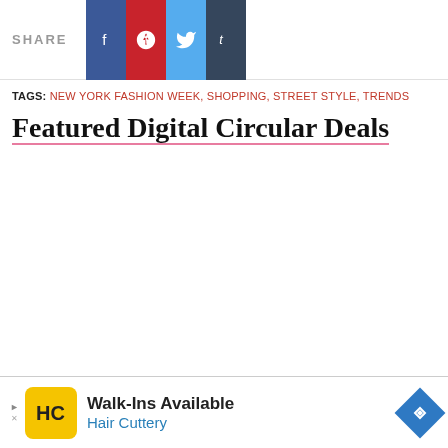SHARE [Facebook] [Pinterest] [Twitter] [Tumblr]
TAGS: NEW YORK FASHION WEEK, SHOPPING, STREET STYLE, TRENDS
Featured Digital Circular Deals
[Figure (other): Advertisement banner for Hair Cuttery: Walk-Ins Available, Hair Cuttery, with HC logo and navigation arrow icon]